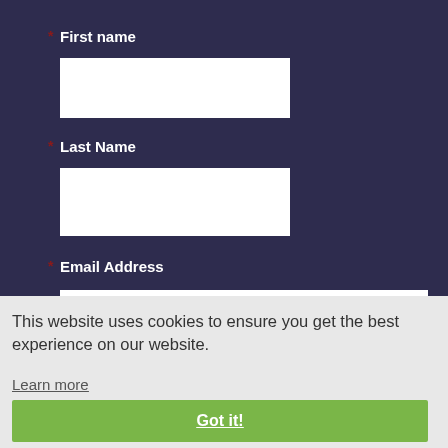* First name
[Figure (screenshot): White input field for First name]
* Last Name
[Figure (screenshot): White input field for Last Name]
* Email Address
[Figure (screenshot): White input field for Email Address]
* Company
This website uses cookies to ensure you get the best experience on our website.
Learn more
Got it!
Country: